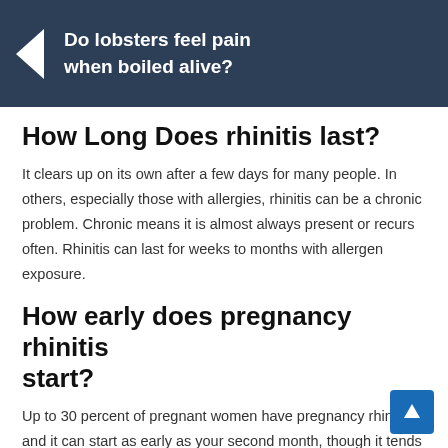[Figure (other): Navigation banner with dark blue background, left-pointing arrow icon, and text 'Do lobsters feel pain when boiled alive?']
How Long Does rhinitis last?
It clears up on its own after a few days for many people. In others, especially those with allergies, rhinitis can be a chronic problem. Chronic means it is almost always present or recurs often. Rhinitis can last for weeks to months with allergen exposure.
How early does pregnancy rhinitis start?
Up to 30 percent of pregnant women have pregnancy rhinitis, and it can start as early as your second month, though it tends to worse later in pregnancy. The congestion should ease up soon